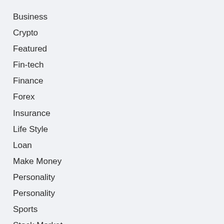Business
Crypto
Featured
Fin-tech
Finance
Forex
Insurance
Life Style
Loan
Make Money
Personality
Personality
Sports
Stock Market